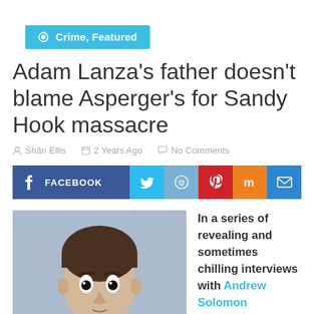Crime, Featured
Adam Lanza's father doesn't blame Asperger's for Sandy Hook massacre
Shân Ellis   2 Years Ago   No Comments
[Figure (infographic): Social share buttons: Facebook, Twitter, Reddit, Pinterest, Mix, Email]
[Figure (photo): Photo of young man with wide eyes and short brown hair against blue background]
In a series of revealing and sometimes chilling interviews with Andrew Solomon